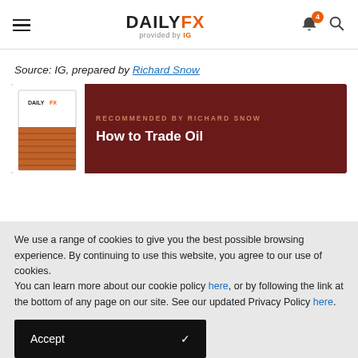DAILYFX provided by IG
Source: IG, prepared by Richard Snow
[Figure (other): DailyFX book promotion banner with dark red background showing 'How to Trade Oil' guide recommended by Richard Snow]
We use a range of cookies to give you the best possible browsing experience. By continuing to use this website, you agree to our use of cookies.
You can learn more about our cookie policy here, or by following the link at the bottom of any page on our site. See our updated Privacy Policy here.
Accept ✓